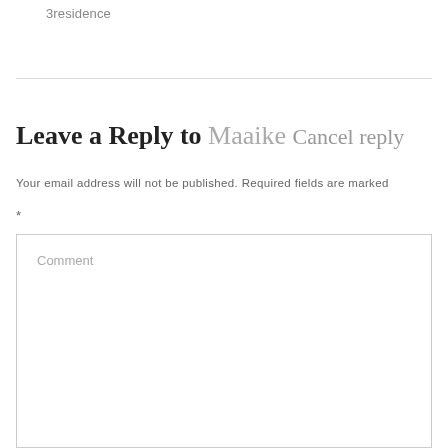3residence
Leave a Reply to Maaike Cancel reply
Your email address will not be published. Required fields are marked
*
Comment